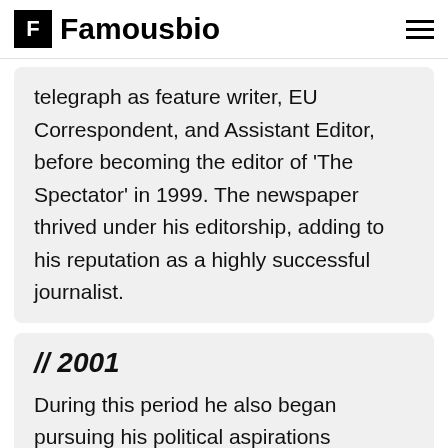Famousbio
telegraph as feature writer, EU Correspondent, and Assistant Editor, before becoming the editor of 'The Spectator' in 1999. The newspaper thrived under his editorship, adding to his reputation as a highly successful journalist.
// 2001
During this period he also began pursuing his political aspirations seriously and became a Member of Parliament for Henley